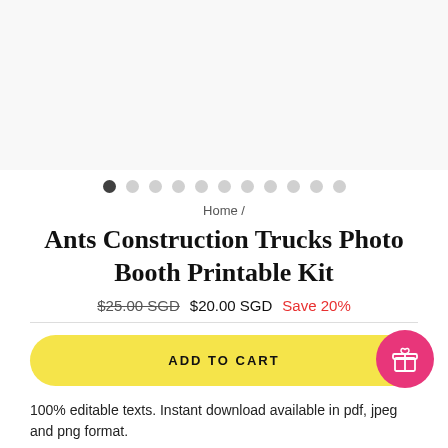[Figure (other): Image carousel area (blank/white product image area)]
[Figure (other): Carousel dot navigation: 11 dots, first dot active (dark), rest light gray]
Home /
Ants Construction Trucks Photo Booth Printable Kit
$25.00 SGD  $20.00 SGD  Save 20%
[Figure (other): Add to Cart yellow rounded button]
[Figure (other): Pink circular gift icon button in bottom right]
100% editable texts. Instant download available in pdf, jpeg and png format.